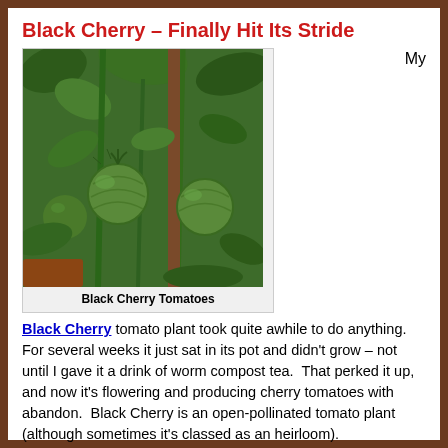Black Cherry – Finally Hit Its Stride
[Figure (photo): Close-up photograph of green Black Cherry tomatoes growing on the vine with leaves visible in the background]
Black Cherry Tomatoes
My Black Cherry tomato plant took quite awhile to do anything.  For several weeks it just sat in its pot and didn't grow – not until I gave it a drink of worm compost tea.  That perked it up, and now it's flowering and producing cherry tomatoes with abandon.  Black Cherry is an open-pollinated tomato plant (although sometimes it's classed as an heirloom).
I've tried growing Black Cherry in the past, but one year